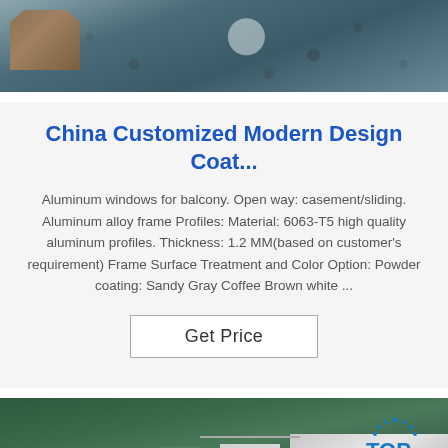[Figure (photo): Top photo showing a workshop or factory floor with wooden/metal furniture pieces and a shiny floor surface.]
China Customized Modern Design Coat...
Aluminum windows for balcony. Open way: casement/sliding. Aluminum alloy frame Profiles: Material: 6063-T5 high quality aluminum profiles. Thickness: 1.2 MM(based on customer's requirement) Frame Surface Treatment and Color Option: Powder coating: Sandy Gray Coffee Brown white ...
Get Price
[Figure (photo): Bottom photo showing metal/aluminum sheet pieces laid on a green surface, with a TOP logo watermark in the top-right corner.]